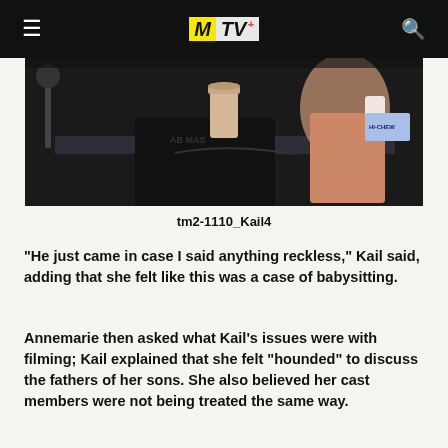MTV+
[Figure (photo): Photo of a person sitting at a desk/table in a dark room with podcast/recording equipment, a Starbucks cup, and a Hi-Chew candy package visible in the background]
tm2-1110_Kail4
"He just came in case I said anything reckless," Kail said, adding that she felt like this was a case of babysitting.
Annemarie then asked what Kail's issues were with filming; Kail explained that she felt "hounded" to discuss the fathers of her sons. She also believed her cast members were not being treated the same way.